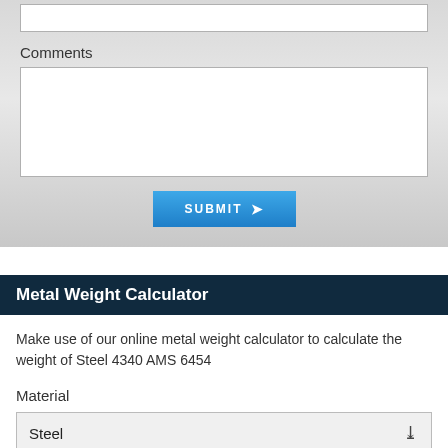Comments
[Figure (screenshot): Empty text input box at top of page]
[Figure (screenshot): Comments textarea input box]
[Figure (screenshot): SUBMIT button with right arrow icon]
Metal Weight Calculator
Make use of our online metal weight calculator to calculate the weight of Steel 4340 AMS 6454
Material
[Figure (screenshot): Steel dropdown select box]
Alloy